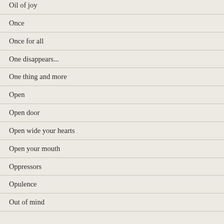Oil of joy
Once
Once for all
One disappears...
One thing and more
Open
Open door
Open wide your hearts
Open your mouth
Oppressors
Opulence
Out of mind